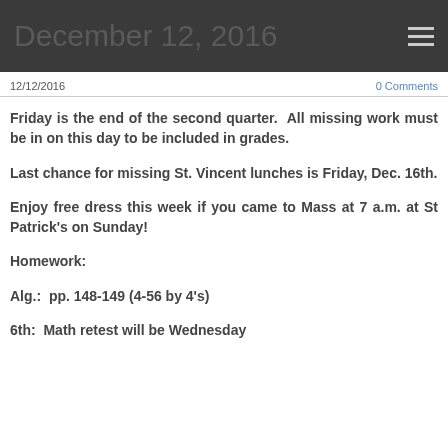December 12, 2016
12/12/2016
0 Comments
Friday is the end of the second quarter.  All missing work must be in on this day to be included in grades.
Last chance for missing St. Vincent lunches is Friday, Dec. 16th.
Enjoy free dress this week if you came to Mass at 7 a.m. at St Patrick's on Sunday!
Homework:
Alg.:  pp. 148-149 (4-56 by 4's)
6th:  Math retest will be Wednesday